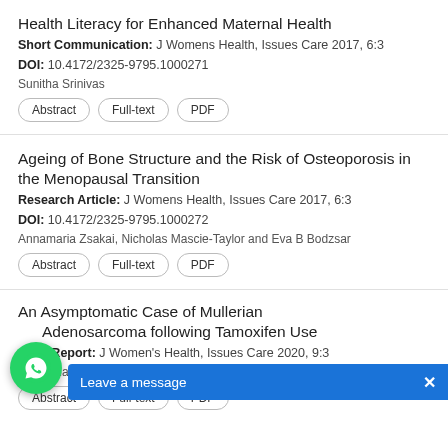Health Literacy for Enhanced Maternal Health
Short Communication: J Womens Health, Issues Care 2017, 6:3
DOI: 10.4172/2325-9795.1000271
Sunitha Srinivas
Abstract  Full-text  PDF
Ageing of Bone Structure and the Risk of Osteoporosis in the Menopausal Transition
Research Article: J Womens Health, Issues Care 2017, 6:3
DOI: 10.4172/2325-9795.1000272
Annamaria Zsakai, Nicholas Mascie-Taylor and Eva B Bodzsar
Abstract  Full-text  PDF
An Asymptomatic Case of Mullerian Adenosarcoma following Tamoxifen Use
Case Report: J Women's Health, Issues Care 2020, 9:3
Himleena Gautam, KK Kathar and
Abstract  Full-text  PDF